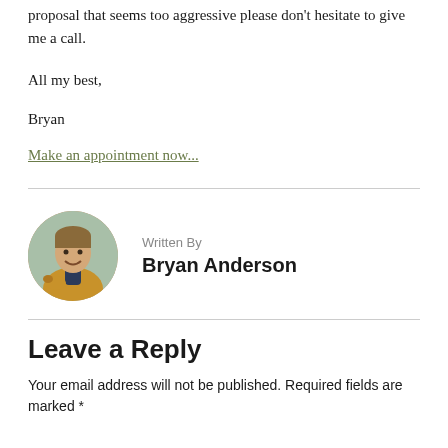proposal that seems too aggressive please don't hesitate to give me a call.
All my best,
Bryan
Make an appointment now...
[Figure (photo): Circular portrait photo of Bryan Anderson, a man in a tan jacket, smiling, holding a dog outdoors]
Written By
Bryan Anderson
Leave a Reply
Your email address will not be published. Required fields are marked *